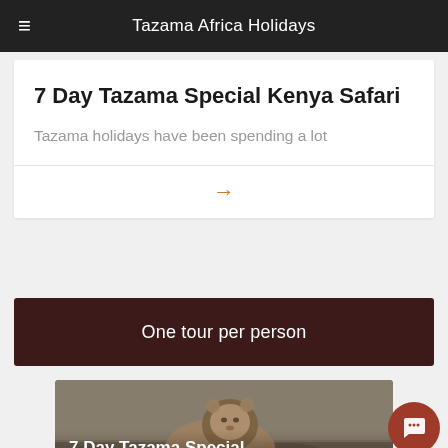Tazama Africa Holidays
7 Day Tazama Special Kenya Safari
Tazama holidays have been spending a lot
→
One tour per person
[Figure (photo): Lion photograph with overlay text '7 Day Tazama Special Kenya Safari']
7 Day Tazama Special Kenya Safari